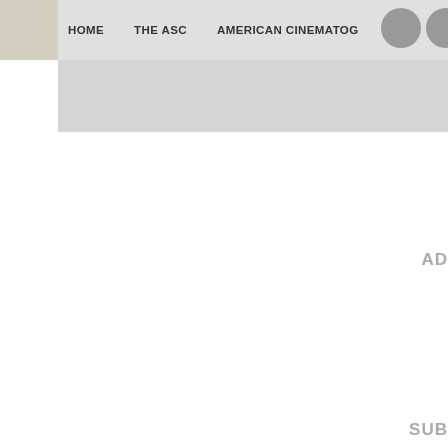HOME | THE ASC | AMERICAN CINEMATOG...
AD
SUB
Privacy |
©2017 American